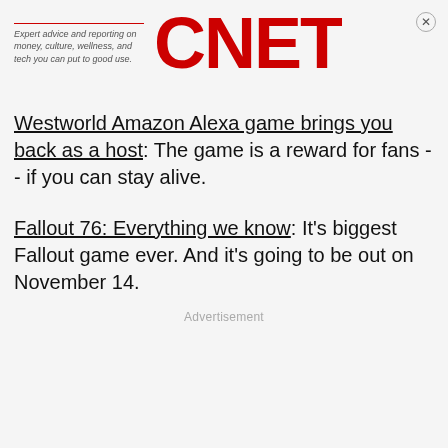[Figure (logo): CNET logo in red with italic tagline 'Expert advice and reporting on money, culture, wellness, and tech you can put to good use.']
Westworld Amazon Alexa game brings you back as a host: The game is a reward for fans -- if you can stay alive.
Fallout 76: Everything we know: It's biggest Fallout game ever. And it's going to be out on November 14.
Advertisement